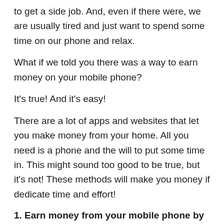to get a side job. And, even if there were, we are usually tired and just want to spend some time on our phone and relax.
What if we told you there was a way to earn money on your mobile phone?
It's true! And it's easy!
There are a lot of apps and websites that let you make money from your home. All you need is a phone and the will to put some time in. This might sound too good to be true, but it's not! These methods will make you money if dedicate time and effort!
1. Earn money from your mobile phone by completing surveys
One of the easiest ways to make money on your